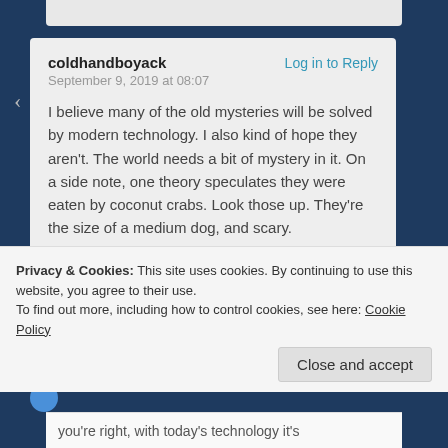coldhandboyack
Log in to Reply
September 9, 2019 at 08:07
I believe many of the old mysteries will be solved by modern technology. I also kind of hope they aren't. The world needs a bit of mystery in it. On a side note, one theory speculates they were eaten by coconut crabs. Look those up. They're the size of a medium dog, and scary.
Liked by 3 people
Privacy & Cookies: This site uses cookies. By continuing to use this website, you agree to their use.
To find out more, including how to control cookies, see here: Cookie Policy
Close and accept
you're right, with today's technology it's